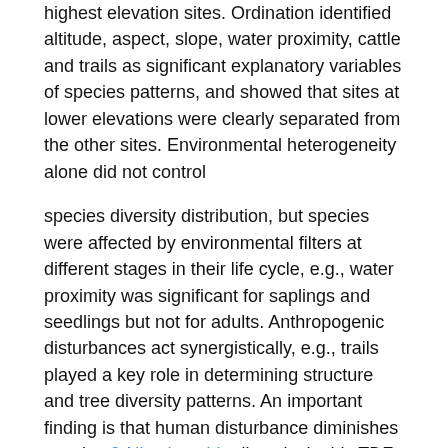highest elevation sites. Ordination identified altitude, aspect, slope, water proximity, cattle and trails as significant explanatory variables of species patterns, and showed that sites at lower elevations were clearly separated from the other sites. Environmental heterogeneity alone did not control
species diversity distribution, but species were affected by environmental filters at different stages in their life cycle, e.g., water proximity was significant for saplings and seedlings but not for adults. Anthropogenic disturbances act synergistically, e.g., trails played a key role in determining structure and tree diversity patterns. An important finding is that human disturbance diminishes species β-Nicotinamide diversity in this TDF, but sites at lower elevations were more disturbed and less diverse, therefore we need to study how environmental factors would act if there were no anthropogenic disturbance." "(Seedling morphology of Rhynchosia species (Leguminosae, Papilionoideae) from Roraima, Brazil). This paper aims to describe, illustrate and compare the seedling morphology of the four species of Rhynchosia